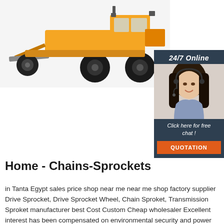[Figure (photo): Yellow motor grader / road grader construction machine on white background]
[Figure (infographic): 24/7 Online chat widget with woman wearing headset and buttons: 'Click here for free chat!' and 'QUOTATION']
Home - Chains-Sprockets
in Tanta Egypt sales price shop near me near me shop factory supplier Drive Sprocket, Drive Sprocket Wheel, Chain Sproket, Transmission Sproket manufacturer best Cost Custom Cheap wholesaler Excellent interest has been compensated on environmental security and power conserving, we have acquired the believe in of